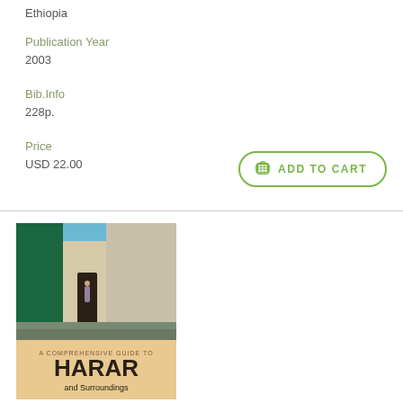Ethiopia
Publication Year
2003
Bib.Info
228p.
Price
USD 22.00
[Figure (other): Add to Cart button with shopping cart icon, green border and text]
[Figure (photo): Book cover for 'A Comprehensive Guide to HARAR and Surroundings' showing a narrow alleyway between colorful walls with a person walking, upper portion is a photograph of the alley, lower portion shows the book title text on a tan/orange background]